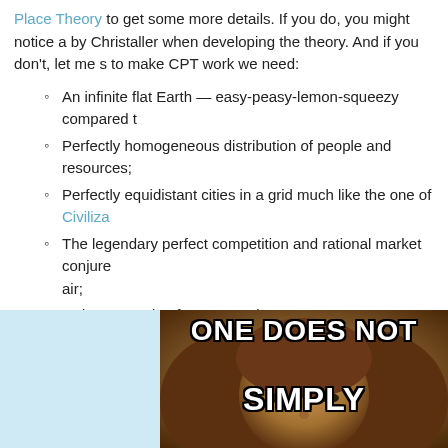Place Theory to get some more details. If you do, you might notice a by Christaller when developing the theory. And if you don't, let me s to make CPT work we need:
An infinite flat Earth — easy-peasy-lemon-squeezy compared t
Perfectly homogeneous distribution of people and resources;
Perfectly equidistant cities in a grid much like the one of Civiliza
The legendary perfect competition and rational market conjured air;
Only one mode of transportation;
A completely homogeneous population, all equal in desires and
In short, the original CPT works in a world that is no more real than
[Figure (photo): Meme image of a person with long brown hair with text 'ONE DOES NOT SIMPLY' overlaid in Impact font with black outline]